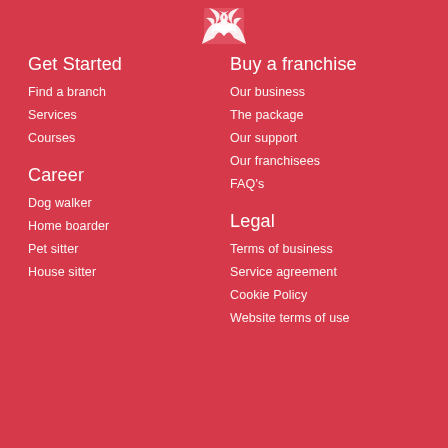[Figure (logo): White bird/eagle logo on red background]
Get Started
Find a branch
Services
Courses
Buy a franchise
Our business
The package
Our support
Our franchisees
FAQ's
Career
Dog walker
Home boarder
Pet sitter
House sitter
Legal
Terms of business
Service agreement
Cookie Policy
Website terms of use